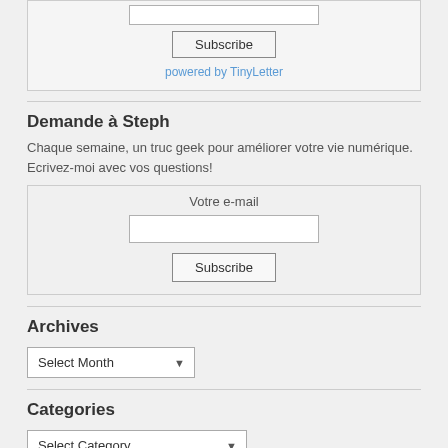[Figure (other): Subscribe widget with email input box and Subscribe button and 'powered by TinyLetter' link]
Demande à Steph
Chaque semaine, un truc geek pour améliorer votre vie numérique. Ecrivez-moi avec vos questions!
[Figure (other): Email subscription widget with 'Votre e-mail' label, email input box, and Subscribe button]
Archives
[Figure (other): Dropdown select box labeled 'Select Month']
Categories
[Figure (other): Dropdown select box labeled 'Select Category']